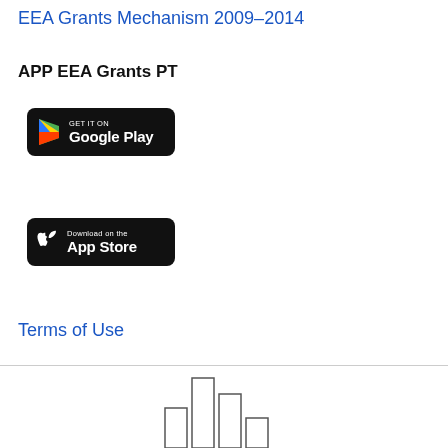EEA Grants Mechanism 2009–2014
APP EEA Grants PT
[Figure (screenshot): Google Play store badge button with play icon and text GET IT ON Google Play on black rounded rectangle background]
[Figure (screenshot): Apple App Store badge button with Apple logo and text Download on the App Store on black rounded rectangle background]
Terms of Use
[Figure (other): Partial bar chart visible at the bottom of the page, cropped]